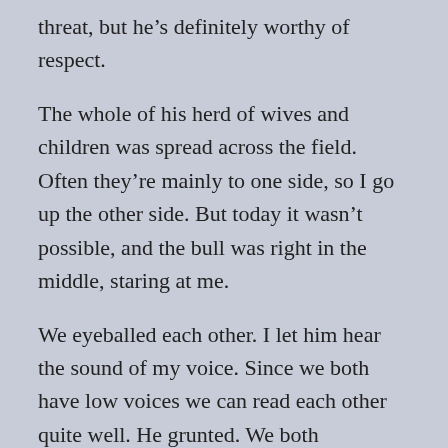threat, but he’s definitely worthy of respect.
The whole of his herd of wives and children was spread across the field. Often they’re mainly to one side, so I go up the other side. But today it wasn’t possible, and the bull was right in the middle, staring at me.
We eyeballed each other. I let him hear the sound of my voice. Since we both have low voices we can read each other quite well. He grunted. We both wondered what to do. It took a while but we weren’t in a hurry. This was contemplation of the scene rather than anxious concern, for both of us. I decided to take an initiative, slowly heading uphill